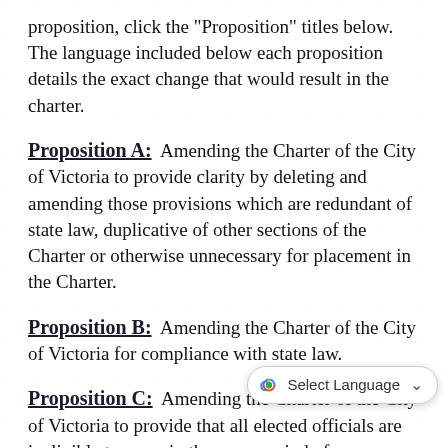proposition, click the "Proposition" titles below. The language included below each proposition details the exact change that would result in the charter.
Proposition A:  Amending the Charter of the City of Victoria to provide clarity by deleting and amending those provisions which are redundant of state law, duplicative of other sections of the Charter or otherwise unnecessary for placement in the Charter.
Proposition B:  Amending the Charter of the City of Victoria for compliance with state law.
Proposition C:  Amending the Charter of the City of Victoria to provide that all elected officials are ineligible to serve in the same period of one year after serving four (4)